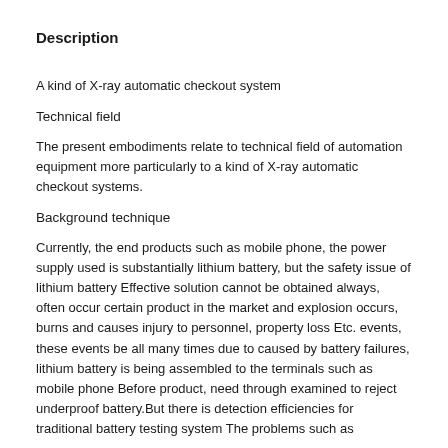Description
A kind of X-ray automatic checkout system
Technical field
The present embodiments relate to technical field of automation equipment more particularly to a kind of X-ray automatic checkout systems.
Background technique
Currently, the end products such as mobile phone, the power supply used is substantially lithium battery, but the safety issue of lithium battery Effective solution cannot be obtained always, often occur certain product in the market and explosion occurs, burns and causes injury to personnel, property loss Etc. events, these events be all many times due to caused by battery failures, lithium battery is being assembled to the terminals such as mobile phone Before product, need through examined to reject underproof battery.But there is detection efficiencies for traditional battery testing system The problems such as